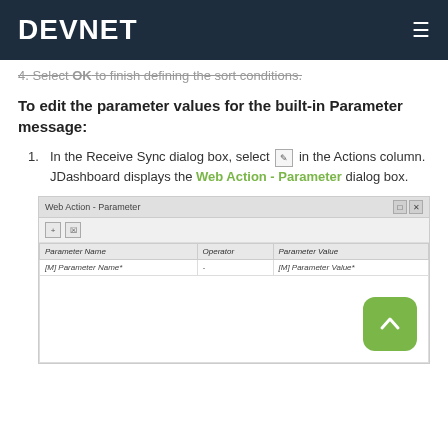DEVNET
4. Select OK to finish defining the sort conditions.
To edit the parameter values for the built-in Parameter message:
1. In the Receive Sync dialog box, select [edit icon] in the Actions column. JDashboard displays the Web Action - Parameter dialog box.
[Figure (screenshot): Web Action - Parameter dialog box showing a table with columns: Parameter Name, Operator, Parameter Value. One row shows: [M] Parameter Name*, -, [M] Parameter Value*. A green back-to-top button is visible in the lower right.]